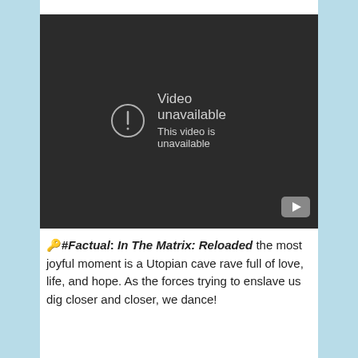[Figure (screenshot): Embedded video player showing 'Video unavailable — This video is unavailable' error message on a dark background, with a YouTube play button icon in the bottom right corner.]
🔑#Factual: In The Matrix: Reloaded the most joyful moment is a Utopian cave rave full of love, life, and hope. As the forces trying to enslave us dig closer and closer, we dance!